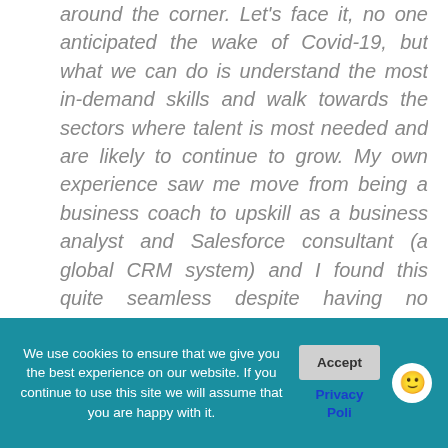around the corner. Let's face it, no one anticipated the wake of Covid-19, but what we can do is understand the most in-demand skills and walk towards the sectors where talent is most needed and are likely to continue to grow. My own experience saw me move from being a business coach to upskill as a business analyst and Salesforce consultant (a global CRM system) and I found this quite seamless despite having no experience in tech. I now reap the benefits of flexibility, a good salary and an exciting and rewarding career.
We use cookies to ensure that we give you the best experience on our website. If you continue to use this site we will assume that you are happy with it.